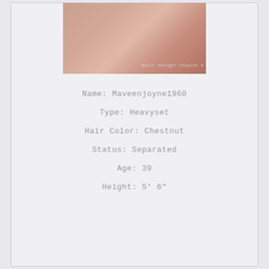[Figure (photo): Partial photo of a person with watermark text 'adult swinger couples a']
Name: Maveenjoyne1960
Type: Heavyset
Hair Color: Chestnut
Status: Separated
Age: 39
Height: 5' 6"